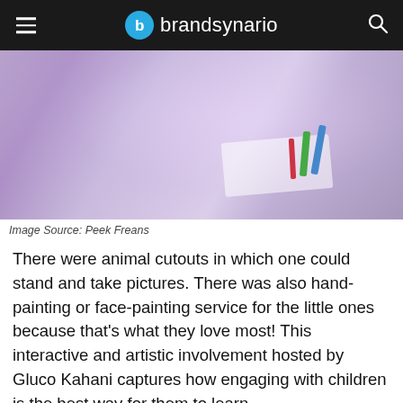brandsynario
[Figure (photo): Child lying on a bed drawing or coloring on paper, wearing a purple/lilac top with text, pencils and markers visible]
Image Source: Peek Freans
There were animal cutouts in which one could stand and take pictures. There was also hand-painting or face-painting service for the little ones because that's what they love most! This interactive and artistic involvement hosted by Gluco Kahani captures how engaging with children is the best way for them to learn.
[Figure (photo): Children gathered around a table at an event, with a red banner and greenery visible in the background]